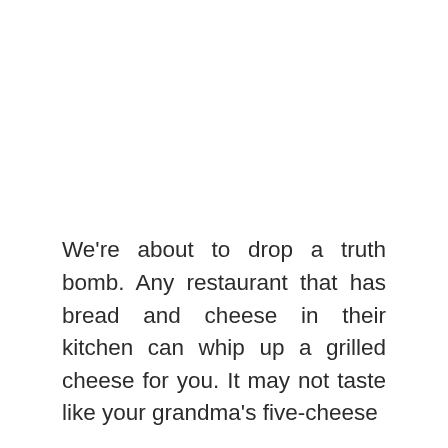We're about to drop a truth bomb. Any restaurant that has bread and cheese in their kitchen can whip up a grilled cheese for you. It may not taste like your grandma's five-cheese